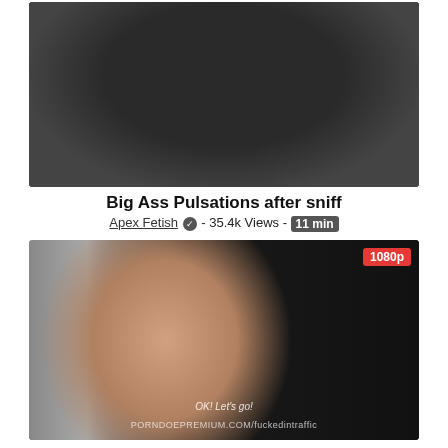[Figure (photo): Dark close-up photo thumbnail showing fabric/clothing in dark tones]
Big Ass Pulsations after sniff
Apex Fetish ✓ - 35.4k Views - 11 min
[Figure (photo): Video thumbnail showing a woman in a pink blazer sitting in the backseat of a car, with 1080p badge, subtitle 'OK! Let's go!' and watermark PORNDOEPREMIUM.COM/fuckedintraffic]
VIP SEX VAULT - Hot Czech redhead Chrissy Fox takes cock in the backseat of the car